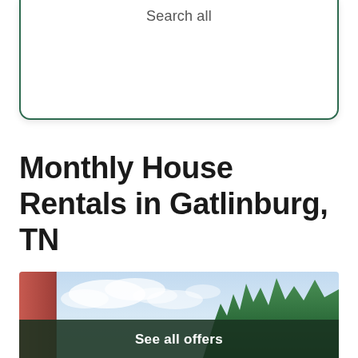Search all
Monthly House Rentals in Gatlinburg, TN
[Figure (photo): Partial view of a house with red siding on the left, a bright blue sky with white clouds in the center, and tall green trees on the right. A dark green overlay bar at the bottom contains the text 'See all offers'.]
See all offers